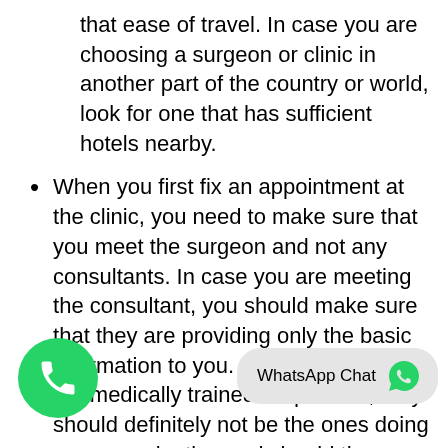that ease of travel. In case you are choosing a surgeon or clinic in another part of the country or world, look for one that has sufficient hotels nearby.
When you first fix an appointment at the clinic, you need to make sure that you meet the surgeon and not any consultants. In case you are meeting the consultant, you should make sure that they are providing only the basic information to you. Given that they are not medically trained or qualified, they should definitely not be the ones doing your examination and should they suggest the same, you sho vehemently, asking for a surgeon to give